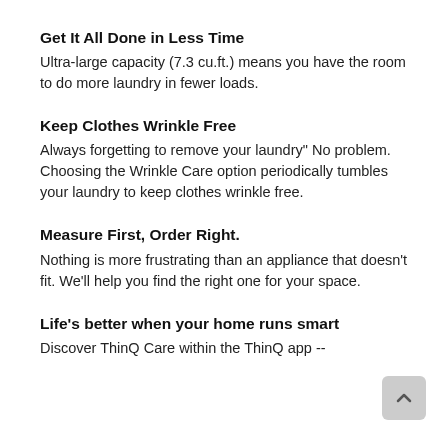Get It All Done in Less Time
Ultra-large capacity (7.3 cu.ft.) means you have the room to do more laundry in fewer loads.
Keep Clothes Wrinkle Free
Always forgetting to remove your laundry" No problem. Choosing the Wrinkle Care option periodically tumbles your laundry to keep clothes wrinkle free.
Measure First, Order Right.
Nothing is more frustrating than an appliance that doesn't fit. We'll help you find the right one for your space.
Life's better when your home runs smart
Discover ThinQ Care within the ThinQ app --